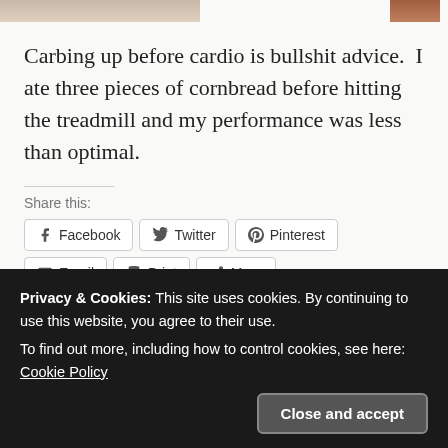[Figure (photo): Partial images at top of page — cropped photo thumbnails]
Carbing up before cardio is bullshit advice.  I ate three pieces of cornbread before hitting the treadmill and my performance was less than optimal.
Share this:
Facebook  Twitter  Pinterest  Email  Print  More
Like this:
Privacy & Cookies: This site uses cookies. By continuing to use this website, you agree to their use.
To find out more, including how to control cookies, see here: Cookie Policy
Close and accept
Related